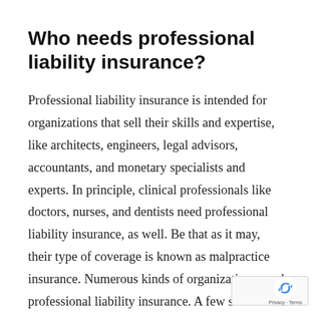Who needs professional liability insurance?
Professional liability insurance is intended for organizations that sell their skills and expertise, like architects, engineers, legal advisors, accountants, and monetary specialists and experts. In principle, clinical professionals like doctors, nurses, and dentists need professional liability insurance, as well. Be that as it may, their type of coverage is known as malpractice insurance. Numerous kinds of organizations need professional liability insurance. A few states require this sort of business insurance